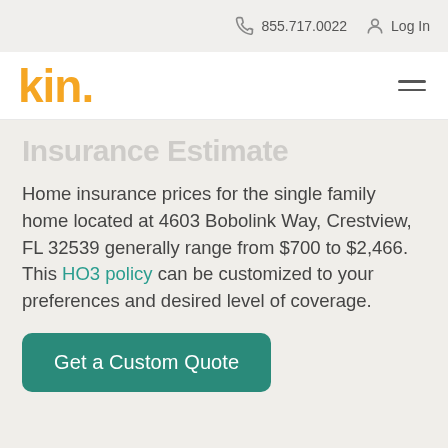855.717.0022   Log In
[Figure (logo): Kin insurance logo in orange/yellow with 'kin.' text]
Insurance Estimate
Home insurance prices for the single family home located at 4603 Bobolink Way, Crestview, FL 32539 generally range from $700 to $2,466. This HO3 policy can be customized to your preferences and desired level of coverage.
Get a Custom Quote